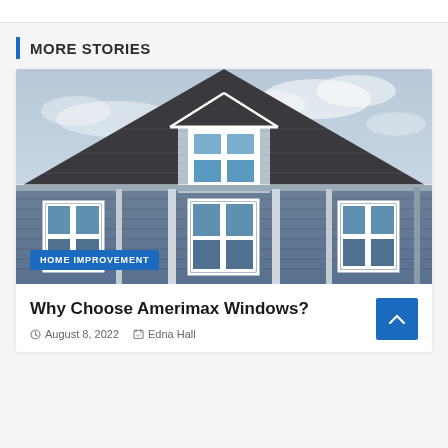MORE STORIES
[Figure (photo): Exterior of a two-story house with blue/gray vinyl siding, white trim, dormer window with four panes, dark shingle roof, and cloudy sky background. A blue badge reads HOME IMPROVEMENT.]
Why Choose Amerimax Windows?
August 8, 2022   Edna Hall